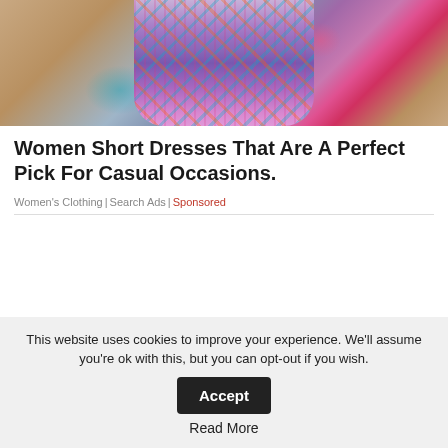[Figure (photo): Woman wearing a colorful patterned short dress with swirling multicolor design, shown from shoulders to waist, standing in front of a building]
Women Short Dresses That Are A Perfect Pick For Casual Occasions.
Women's Clothing | Search Ads | Sponsored
This website uses cookies to improve your experience. We'll assume you're ok with this, but you can opt-out if you wish. Read More